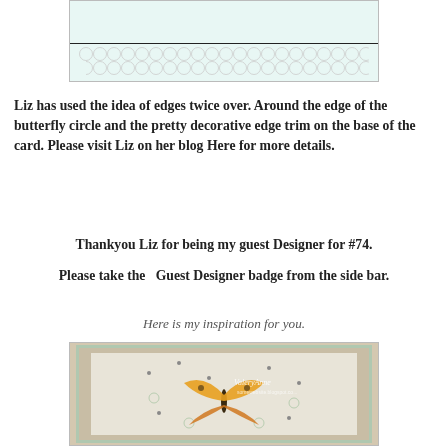[Figure (photo): Photo of a crafting card with a decorative scallop edge trim on pale mint/green background, on a wooden surface]
Liz has used the idea of edges twice over. Around the edge of the butterfly circle and the pretty decorative edge trim on the base of the card. Please visit Liz on her blog Here for more details.
Thankyou Liz for being my guest Designer for #74.
Please take the  Guest Designer badge from the side bar.
Here is my inspiration for you.
[Figure (photo): Photo of a handmade greeting card featuring a butterfly, decorative floral stamps, and a ValeryAnne watermark, framed with mint green border on beige background]